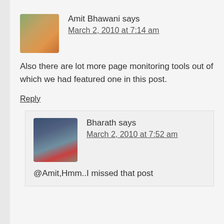Amit Bhawani says
March 2, 2010 at 7:14 am
Also there are lot more page monitoring tools out of which we had featured one in this post.
Reply
Bharath says
March 2, 2010 at 7:52 am
@Amit,Hmm..I missed that post